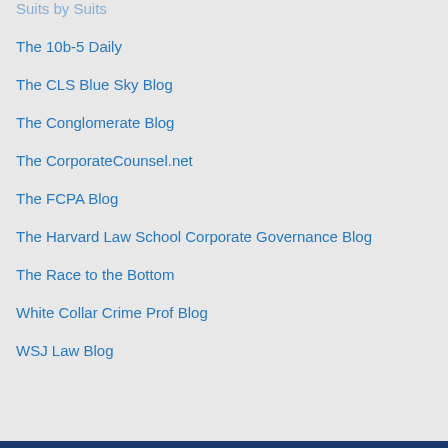Suits by Suits
The 10b-5 Daily
The CLS Blue Sky Blog
The Conglomerate Blog
The CorporateCounsel.net
The FCPA Blog
The Harvard Law School Corporate Governance Blog
The Race to the Bottom
White Collar Crime Prof Blog
WSJ Law Blog